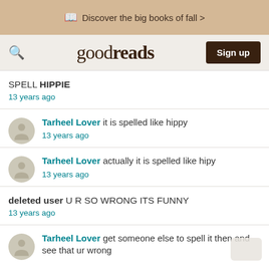Discover the big books of fall >
goodreads  Sign up
SPELL HIPPIE
13 years ago
Tarheel Lover it is spelled like hippy
13 years ago
Tarheel Lover actually it is spelled like hipy
13 years ago
deleted user U R SO WRONG ITS FUNNY
13 years ago
Tarheel Lover get someone else to spell it then and see that ur wrong